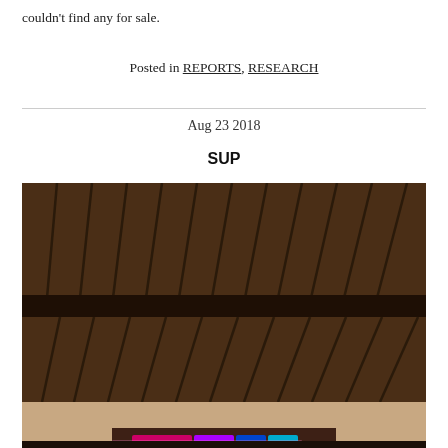couldn't find any for sale.
Posted in REPORTS, RESEARCH
Aug 23 2018
SUP
[Figure (photo): Dark interior photo showing a wooden slat ceiling with a horizontal beam dividing upper and lower sections. The lower portion shows the beginning of a wall area with a dark wooden beam/shelf and colorful LED or neon lighting visible at the bottom edge.]